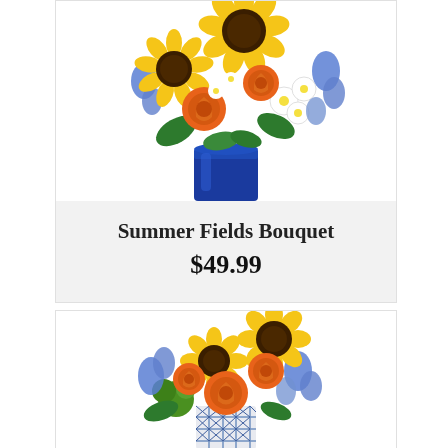[Figure (photo): Summer Fields Bouquet in a blue glass vase with sunflowers, orange roses, white daisies, and blue delphinium (partial/cropped at top)]
Summer Fields Bouquet
$49.99
[Figure (photo): Second flower bouquet with sunflowers, orange roses, blue delphinium, and green pompons in a blue and white patterned vase (partially visible at bottom of page)]